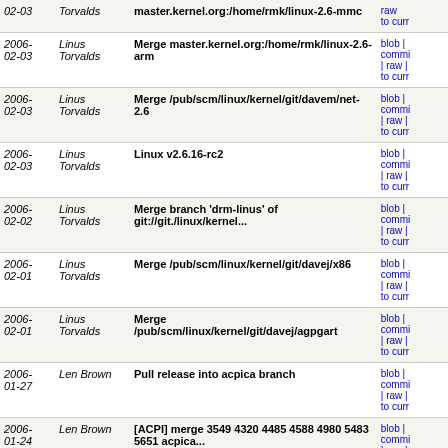| Date | Author | Message | Links |
| --- | --- | --- | --- |
| 2006-02-03 | Linus Torvalds | master.kernel.org:/home/rmk/linux-2.6-mmc | blob | commit | raw | to curr |
| 2006-02-03 | Linus Torvalds | Merge master.kernel.org:/home/rmk/linux-2.6-arm | blob | commit | raw | to curr |
| 2006-02-03 | Linus Torvalds | Merge /pub/scm/linux/kernel/git/davem/net-2.6 | blob | commit | raw | to curr |
| 2006-02-03 | Linus Torvalds | Linux v2.6.16-rc2 | blob | commit | raw | to curr |
| 2006-02-02 | Linus Torvalds | Merge branch 'drm-linus' of git://git./linux/kernel... | blob | commit | raw | to curr |
| 2006-02-01 | Linus Torvalds | Merge /pub/scm/linux/kernel/git/davej/x86 | blob | commit | raw | to curr |
| 2006-02-01 | Linus Torvalds | Merge /pub/scm/linux/kernel/git/davej/agpgart | blob | commit | raw | to curr |
| 2006-01-27 | Len Brown | Pull release into acpica branch | blob | commit | raw | to curr |
| 2006-01-24 | Len Brown | [ACPI] merge 3549 4320 4485 4588 4980 5483 5651 acpica... | blob | commit | raw | to curr |
| 2006-01-21 | Sam Ravnborg | kbuild: fix build with O=.. | blob | commit | raw | to curr |
| 2006-01-16 | Anton ... | Merge branch 'master' of /usr/src/ntfs-2.6/ | blob | commit |